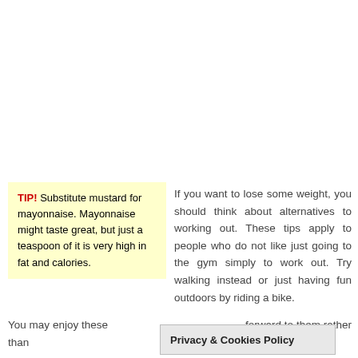TIP! Substitute mustard for mayonnaise. Mayonnaise might taste great, but just a teaspoon of it is very high in fat and calories.
If you want to lose some weight, you should think about alternatives to working out. These tips apply to people who do not like just going to the gym simply to work out. Try walking instead or just having fun outdoors by riding a bike.
You may enjoy these forward to them rather than
Privacy & Cookies Policy